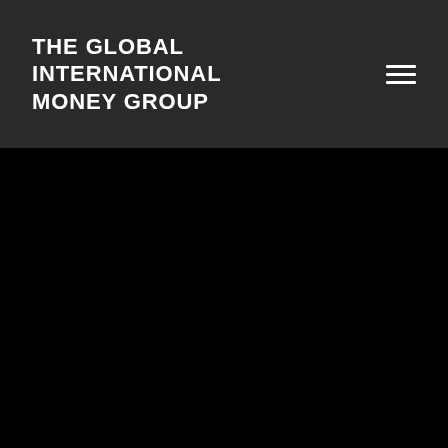THE GLOBAL INTERNATIONAL MONEY GROUP
[Figure (other): Black background area filling the lower portion of the page]